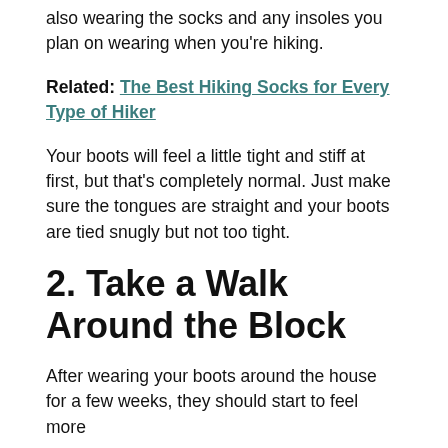also wearing the socks and any insoles you plan on wearing when you're hiking.
Related: The Best Hiking Socks for Every Type of Hiker
Your boots will feel a little tight and stiff at first, but that's completely normal. Just make sure the tongues are straight and your boots are tied snugly but not too tight.
2. Take a Walk Around the Block
After wearing your boots around the house for a few weeks, they should start to feel more